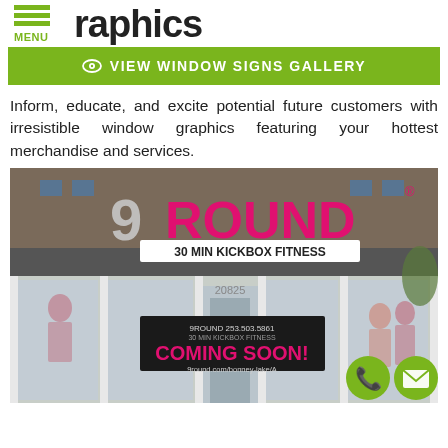raphics
VIEW WINDOW SIGNS GALLERY
Inform, educate, and excite potential future customers with irresistible window graphics featuring your hottest merchandise and services.
[Figure (photo): 9Round 30 Min Kickbox Fitness storefront with window graphics and a 'Coming Soon!' banner]